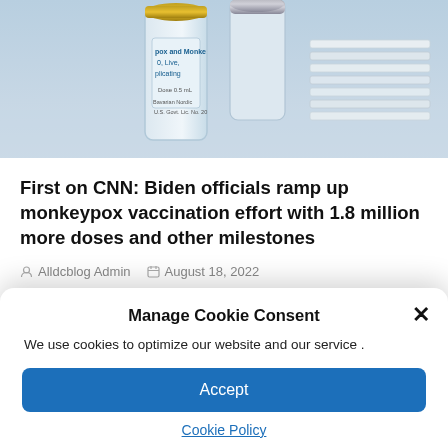[Figure (photo): Photo of monkeypox vaccine vials on a surface, showing labels reading 'pox and Monkey', 'Live,', 'plicating', with additional medical vials and cards in the background]
First on CNN: Biden officials ramp up monkeypox vaccination effort with 1.8 million more doses and other milestones
Alldcblog Admin   August 18, 2022
Manage Cookie Consent
We use cookies to optimize our website and our service .
Accept
Cookie Policy